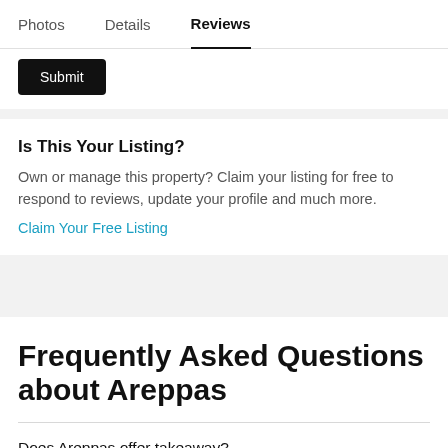Photos   Details   Reviews
Submit
Is This Your Listing?
Own or manage this property? Claim your listing for free to respond to reviews, update your profile and much more.
Claim Your Free Listing
Frequently Asked Questions about Areppas
Does Areppas offer takeaway?